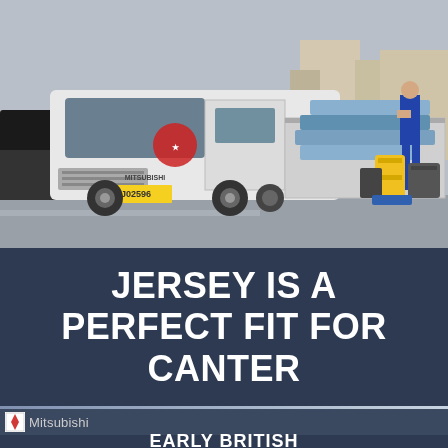[Figure (photo): A white Mitsubishi Canter delivery truck with license plate J02596 parked in a lot. A worker in blue overalls is unloading barrels/kegs from the flatbed. Several metal barrels are stacked nearby on the right. Buildings visible in background.]
JERSEY IS A PERFECT FIT FOR CANTER
[Figure (logo): Mitsubishi logo icon followed by the text 'Mitsubishi']